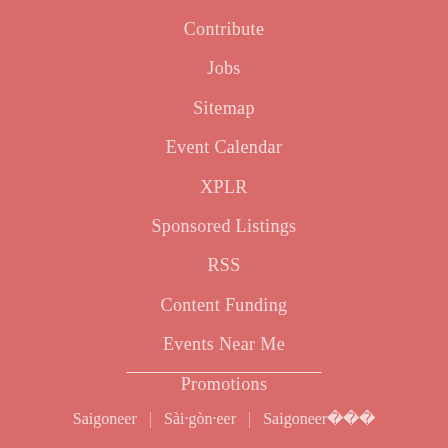Contribute
Jobs
Sitemap
Event Calendar
XPLR
Sponsored Listings
RSS
Content Funding
Events Near Me
Promotions
Saigoneer | Sài·gòn·eer | Saigoneer���